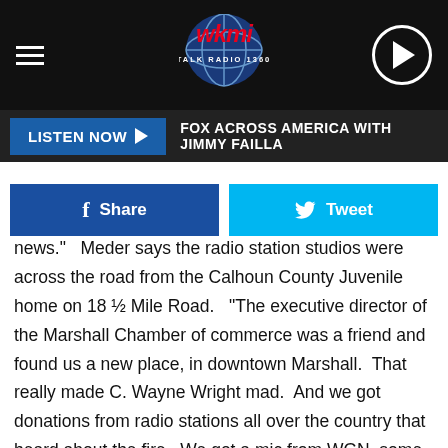WKMI Talk Radio 1360 — LISTEN NOW: FOX ACROSS AMERICA WITH JIMMY FAILLA
news."   Meder says the radio station studios were across the road from the Calhoun County Juvenile home on 18 ½ Mile Road.   "The executive director of the Marshall Chamber of commerce was a friend and found us a new place, in downtown Marshall.  That really made C. Wayne Wright mad.  And we got donations from radio stations all over the country that heard about the fire.  We got a mic from WGN, some stuff was donated from Sturgis, and we even got a new battery-operated remote broadcast unit from somewhere.  We were off the air maybe 3 days.  It was incredible how the industry got behind us."